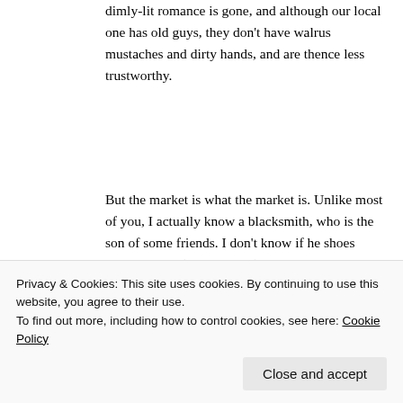dimly-lit romance is gone, and although our local one has old guys, they don't have walrus mustaches and dirty hands, and are thence less trustworthy.
But the market is what the market is. Unlike most of you, I actually know a blacksmith, who is the son of some friends. I don't know if he shoes horses per se (he's an artist), but he has those rare skills. There are still blacksmiths, because there are still horses who at last check still had feet, but horses are a luxury item
Privacy & Cookies: This site uses cookies. By continuing to use this website, you agree to their use.
To find out more, including how to control cookies, see here: Cookie Policy
Close and accept